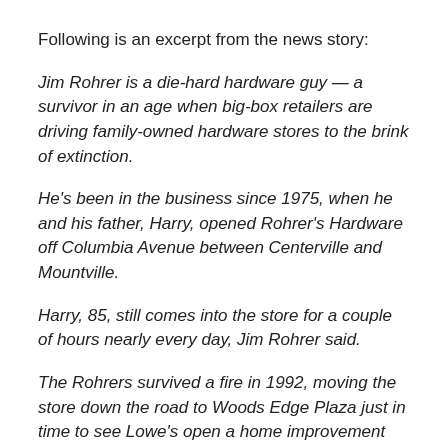Following is an excerpt from the news story:
Jim Rohrer is a die-hard hardware guy — a survivor in an age when big-box retailers are driving family-owned hardware stores to the brink of extinction.
He's been in the business since 1975, when he and his father, Harry, opened Rohrer's Hardware off Columbia Avenue between Centerville and Mountville.
Harry, 85, still comes into the store for a couple of hours nearly every day, Jim Rohrer said.
The Rohrers survived a fire in 1992, moving the store down the road to Woods Edge Plaza just in time to see Lowe's open a home improvement center on nearby Rohrerstown Road.